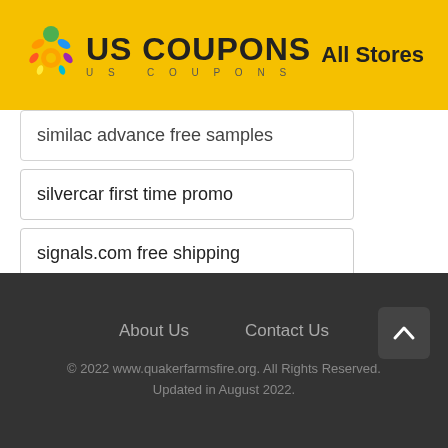US COUPONS — All Stores
similac advance free samples
silvercar first time promo
signals.com free shipping
sierra trading post 25 off
About Us   Contact Us
© 2022 www.quakerfarmsfire.org. All Rights Reserved. Updated in August 2022.